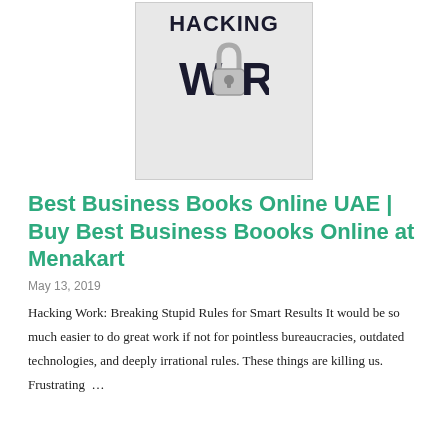[Figure (photo): Book cover showing the text 'HACKING WORK' with a padlock replacing the letter 'O' in 'WORK', on a light grey background with bold dark text]
Best Business Books Online UAE | Buy Best Business Boooks Online at Menakart
May 13, 2019
Hacking Work: Breaking Stupid Rules for Smart Results It would be so much easier to do great work if not for pointless bureaucracies, outdated technologies, and deeply irrational rules. These things are killing us. Frustrating ...